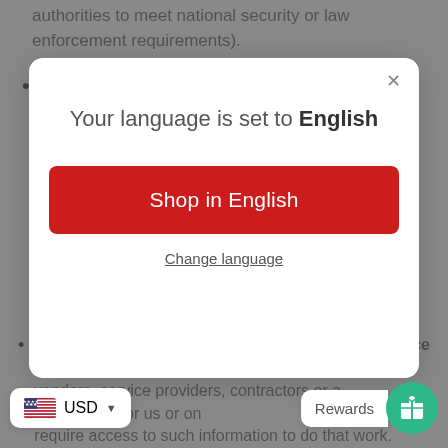authorities to meet national security or law enforcement requirements).
Vital Interests: We may disclose your information where we believe it is necessary to investigate,
[Figure (screenshot): Modal dialog overlay with language selection. Title: 'Your language is set to English'. Red button: 'Shop in English'. Link: 'Change language'. Close (×) button in top right.]
Vendors, Consultants and Other Third-Party Service Providers. We may share your data with third party vendors, service providers, contractors or... rm services for us or on... require access to such information to do that work.
USD (currency selector widget)
Rewards